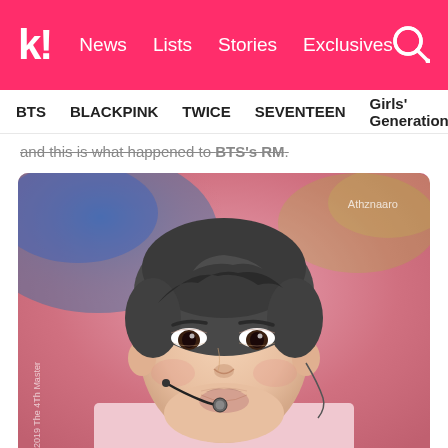k! News Lists Stories Exclusives
BTS  BLACKPINK  TWICE  SEVENTEEN  Girls' Generation
and this is what happened to BTS's RM.
[Figure (photo): Close-up photo of BTS member RM performing on stage, wearing a pink outfit and a headset microphone, against a pink background. Watermark reads 'Athznaaro' in top right corner and '2019 The 4Th Master' vertically on the left side.]